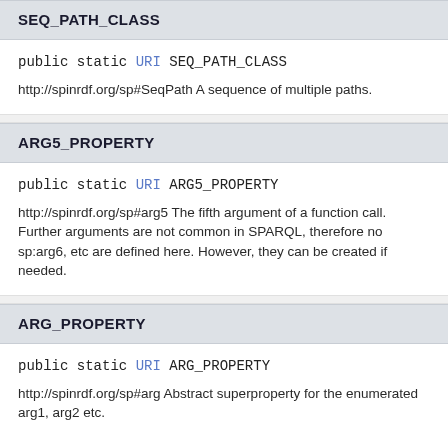SEQ_PATH_CLASS
public static URI SEQ_PATH_CLASS
http://spinrdf.org/sp#SeqPath A sequence of multiple paths.
ARG5_PROPERTY
public static URI ARG5_PROPERTY
http://spinrdf.org/sp#arg5 The fifth argument of a function call. Further arguments are not common in SPARQL, therefore no sp:arg6, etc are defined here. However, they can be created if needed.
ARG_PROPERTY
public static URI ARG_PROPERTY
http://spinrdf.org/sp#arg Abstract superproperty for the enumerated arg1, arg2 etc.